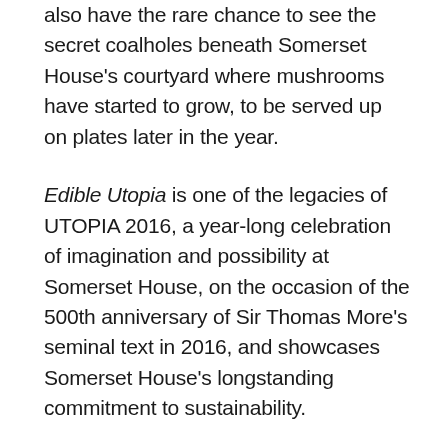also have the rare chance to see the secret coalholes beneath Somerset House's courtyard where mushrooms have started to grow, to be served up on plates later in the year.
Edible Utopia is one of the legacies of UTOPIA 2016, a year-long celebration of imagination and possibility at Somerset House, on the occasion of the 500th anniversary of Sir Thomas More's seminal text in 2016, and showcases Somerset House's longstanding commitment to sustainability.
The food grown at Somerset House will ultimately be served back at Somerset House, through its on-site cafés and restaurants, reducing Somerset House's overall carbon footprint by